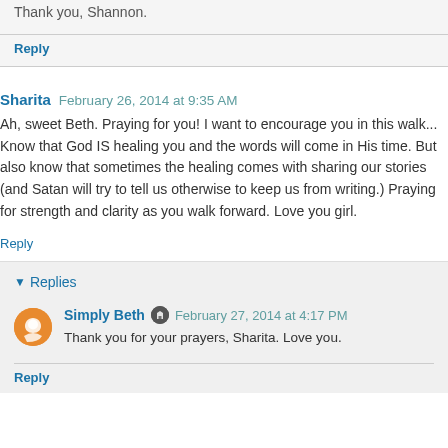Thank you, Shannon.
Reply
Sharita  February 26, 2014 at 9:35 AM
Ah, sweet Beth. Praying for you! I want to encourage you in this walk... Know that God IS healing you and the words will come in His time. But also know that sometimes the healing comes with sharing our stories (and Satan will try to tell us otherwise to keep us from writing.) Praying for strength and clarity as you walk forward. Love you girl.
Reply
Replies
Simply Beth  February 27, 2014 at 4:17 PM
Thank you for your prayers, Sharita. Love you.
Reply